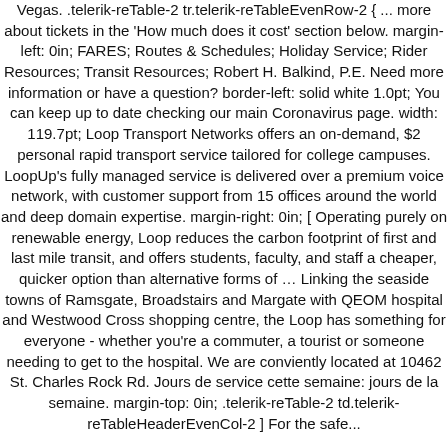Vegas. .telerik-reTable-2 tr.telerik-reTableEvenRow-2 { ... more about tickets in the 'How much does it cost' section below. margin-left: 0in; FARES; Routes & Schedules; Holiday Service; Rider Resources; Transit Resources; Robert H. Balkind, P.E. Need more information or have a question? border-left: solid white 1.0pt; You can keep up to date checking our main Coronavirus page. width: 119.7pt; Loop Transport Networks offers an on-demand, $2 personal rapid transport service tailored for college campuses. LoopUp's fully managed service is delivered over a premium voice network, with customer support from 15 offices around the world and deep domain expertise. margin-right: 0in; [ Operating purely on renewable energy, Loop reduces the carbon footprint of first and last mile transit, and offers students, faculty, and staff a cheaper, quicker option than alternative forms of … Linking the seaside towns of Ramsgate, Broadstairs and Margate with QEOM hospital and Westwood Cross shopping centre, the Loop has something for everyone - whether you're a commuter, a tourist or someone needing to get to the hospital. We are conviently located at 10462 St. Charles Rock Rd. Jours de service cette semaine: jours de la semaine. margin-top: 0in; .telerik-reTable-2 td.telerik-reTableHeaderEvenCol-2 ] For the safe...